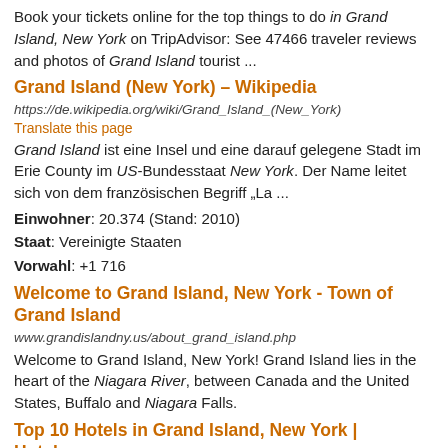Book your tickets online for the top things to do in Grand Island, New York on TripAdvisor: See 47466 traveler reviews and photos of Grand Island tourist ...
Grand Island (New York) – Wikipedia
https://de.wikipedia.org/wiki/Grand_Island_(New_York)
Translate this page
Grand Island ist eine Insel und eine darauf gelegene Stadt im Erie County im US-Bundesstaat New York. Der Name leitet sich von dem französischen Begriff „La ...
Einwohner: 20.374 (Stand: 2010)
Staat: Vereinigte Staaten
Vorwahl: +1 716
Welcome to Grand Island, New York - Town of Grand Island
www.grandislandny.us/about_grand_island.php
Welcome to Grand Island, New York! Grand Island lies in the heart of the Niagara River, between Canada and the United States, Buffalo and Niagara Falls.
Top 10 Hotels in Grand Island, New York | Hotels.com
https://www.hotels.com › Hotels in United States of America ›